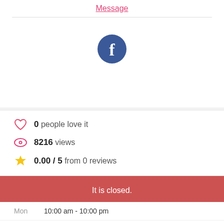Message
[Figure (logo): Facebook logo — dark blue circle with white lowercase f]
0 people love it
8216 views
0.00 / 5 from 0 reviews
It is closed.
Mon  10:00 am - 10:00 pm
Tue  10:00 am - 10:00 pm